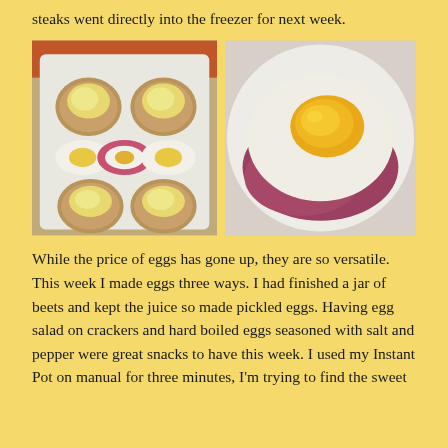steaks went directly into the freezer for next week.
[Figure (photo): Two food photos side by side: left photo shows crackers topped with egg salad and two halved hard boiled eggs (one pickled pink) on a white plate; right photo shows a fried egg with runny yolk over what appears to be ham on a white plate.]
While the price of eggs has gone up, they are so versatile. This week I made eggs three ways. I had finished a jar of beets and kept the juice so made pickled eggs. Having egg salad on crackers and hard boiled eggs seasoned with salt and pepper were great snacks to have this week. I used my Instant Pot on manual for three minutes, I'm trying to find the sweet